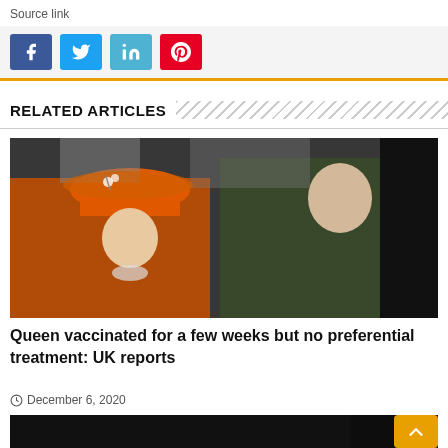Source link
[Figure (other): Social media share buttons: Facebook (blue), Twitter (light blue), LinkedIn (teal), Pinterest (red)]
RELATED ARTICLES
[Figure (photo): Photo of Queen Elizabeth II wearing an orange coat and orange hat, and Prince Philip wearing a dark green coat, walking together outdoors]
Queen vaccinated for a few weeks but no preferential treatment: UK reports
December 6, 2020
[Figure (photo): Second article thumbnail image, mostly dark/black]